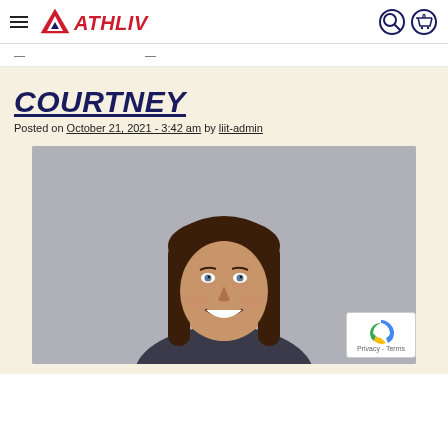ATHLIV — navigation header with hamburger menu, logo, search and cart icons
— —
COURTNEY
Posted on October 21, 2021 - 3:42 am by liit-admin
[Figure (photo): Headshot photo of a smiling young woman with long brown hair, against a grey background]